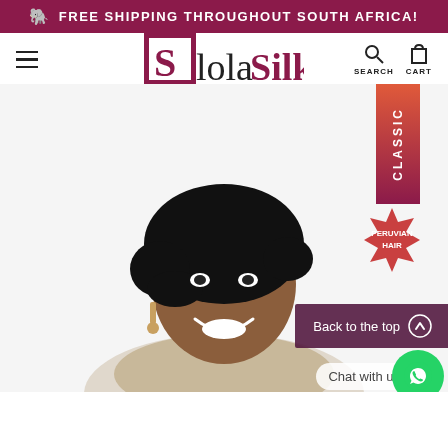🐘 FREE SHIPPING THROUGHOUT SOUTH AFRICA!
[Figure (logo): SlolaSilk brand logo with a square magenta icon and stylized text]
[Figure (photo): Woman with short wavy black wig (Peruvian hair) smiling, with CLASSIC badge and PERUVIAN HAIR badge overlay, Back to the top button, and Chat with us WhatsApp button]